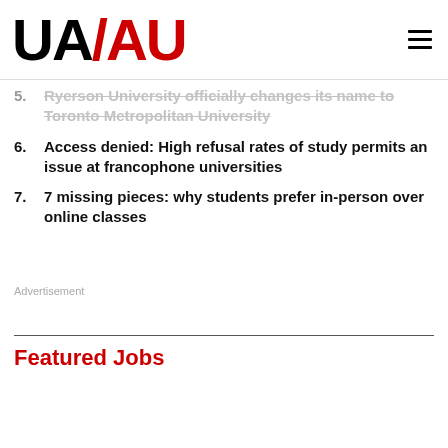UA/AU
5. Ryerson University officially changes its name to Toronto Metropolitan University
6. Access denied: High refusal rates of study permits an issue at francophone universities
7. 7 missing pieces: why students prefer in-person over online classes
Advertisement
Featured Jobs